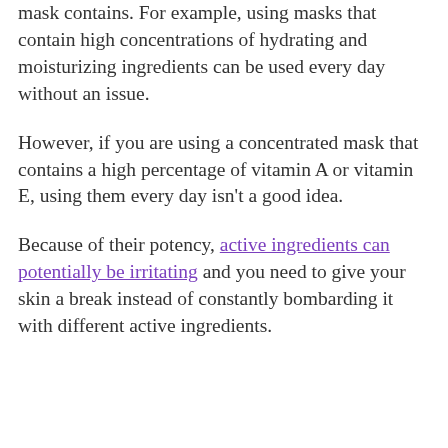mask contains. For example, using masks that contain high concentrations of hydrating and moisturizing ingredients can be used every day without an issue.
However, if you are using a concentrated mask that contains a high percentage of vitamin A or vitamin E, using them every day isn't a good idea.
Because of their potency, active ingredients can potentially be irritating and you need to give your skin a break instead of constantly bombarding it with different active ingredients.